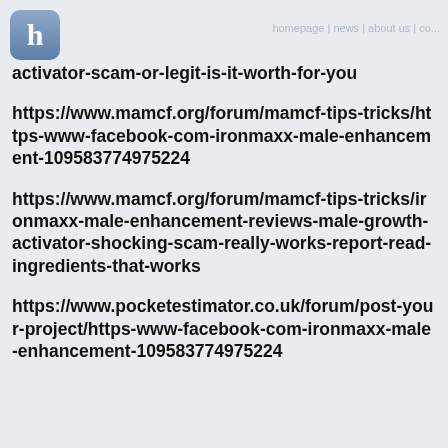h  [header text faded]
activator-scam-or-legit-is-it-worth-for-you
https://www.mamcf.org/forum/mamcf-tips-tricks/https-www-facebook-com-ironmaxx-male-enhancement-109583774975224
https://www.mamcf.org/forum/mamcf-tips-tricks/ironmaxx-male-enhancement-reviews-male-growth-activator-shocking-scam-really-works-report-read-ingredients-that-works
https://www.pocketestimator.co.uk/forum/post-your-project/https-www-facebook-com-ironmaxx-male-enhancement-109583774975224